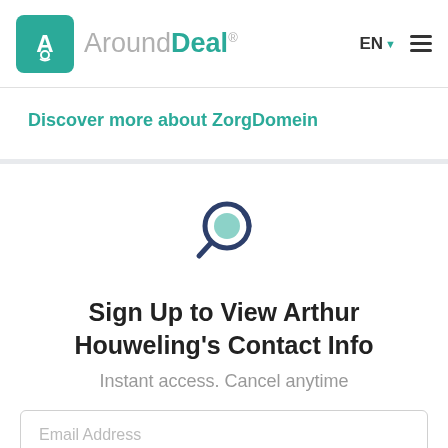AroundDeal® EN ☰
Discover more about ZorgDomein
[Figure (illustration): Magnifying glass / search icon with teal and navy blue colors]
Sign Up to View Arthur Houweling's Contact Info
Instant access. Cancel anytime
Email Address